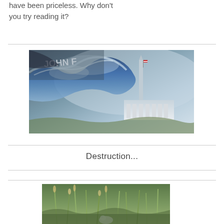have been priceless. Why don't you try reading it?
[Figure (photo): Dramatic composite image showing a large ocean wave crashing toward Washington DC landmarks including the Washington Monument and White House, with text 'JOHN F' visible in the upper portion]
Destruction...
[Figure (photo): Outdoor nature photo showing tall grasses and vegetation, with a white bird or animal visible at the bottom]